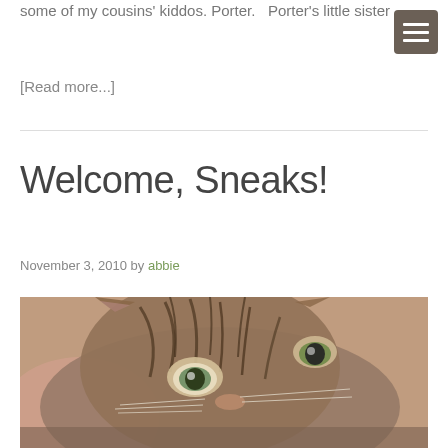some of my cousins' kiddos. Porter.   Porter's little sister …
[Read more...]
Welcome, Sneaks!
November 3, 2010 by abbie
[Figure (photo): Close-up photo of a tabby kitten with blue-green eyes looking upward, brown and black striped fur, warm blurred background]